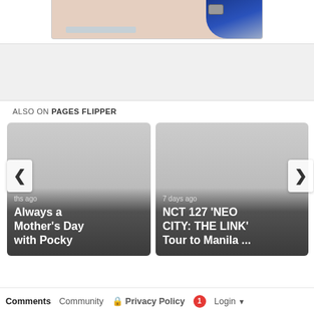[Figure (photo): Partial photo of a person in a blue outfit with a watch, cropped at the top of the page]
[Figure (other): Gray advertisement banner area]
ALSO ON PAGES FLIPPER
[Figure (other): Card: months ago — Always a Mother's Day with Pocky]
[Figure (other): Card: 7 days ago — NCT 127 'NEO CITY: THE LINK' Tour to Manila ...]
Comments   Community   Privacy Policy   1   Login